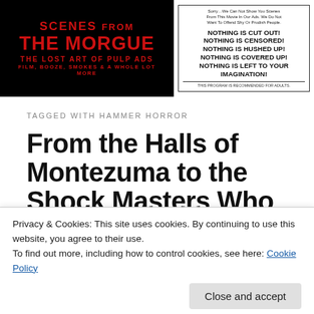[Figure (logo): Scenes From The Morgue – The Lost Art of Pulp Ads header banner on black background with red text, alongside a vintage advertisement box saying NOTHING IS CUT OUT! NOTHING IS CENSORED! NOTHING IS HUSHED UP! NOTHING IS COVERED UP! NOTHING IS LEFT TO YOUR IMAGINATION!]
TAGGED WITH HAMMER HORROR
From the Halls of Montezuma to the Shock Masters Who Shatter Your Senses (June
Privacy & Cookies: This site uses cookies. By continuing to use this website, you agree to their use.
To find out more, including how to control cookies, see here: Cookie Policy
[Figure (photo): Bottom strip showing '3 Big Shows' text in white on dark background]